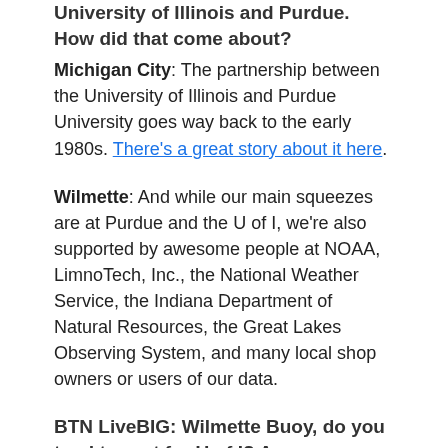University of Illinois and Purdue. How did that come about?
Michigan City: The partnership between the University of Illinois and Purdue University goes way back to the early 1980s. There's a great story about it here.
Wilmette: And while our main squeezes are at Purdue and the U of I, we're also supported by awesome people at NOAA, LimnoTech, Inc., the National Weather Service, the Indiana Department of Natural Resources, the Great Lakes Observing System, and many local shop owners or users of our data.
BTN LiveBIG: Wilmette Buoy, do you tend to root for U of I? Are you a loyal Purdue fan, Michigan